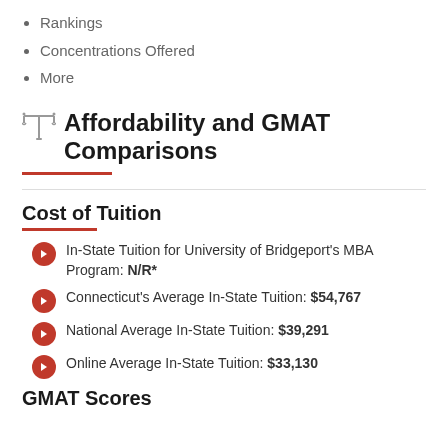Rankings
Concentrations Offered
More
Affordability and GMAT Comparisons
Cost of Tuition
In-State Tuition for University of Bridgeport's MBA Program: N/R*
Connecticut's Average In-State Tuition: $54,767
National Average In-State Tuition: $39,291
Online Average In-State Tuition: $33,130
GMAT Scores